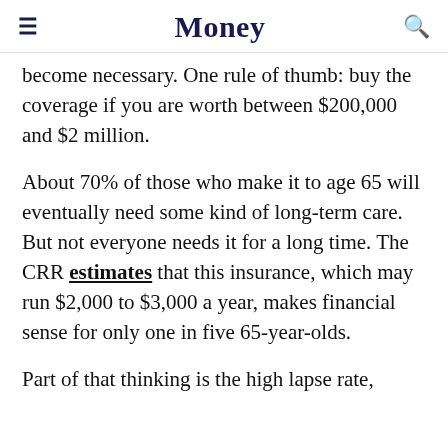Money
become necessary. One rule of thumb: buy the coverage if you are worth between $200,000 and $2 million.
About 70% of those who make it to age 65 will eventually need some kind of long-term care. But not everyone needs it for a long time. The CRR estimates that this insurance, which may run $2,000 to $3,000 a year, makes financial sense for only one in five 65-year-olds.
Part of that thinking is the high lapse rate,